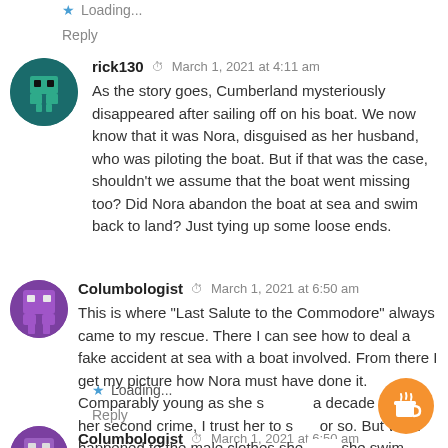★ Loading...
Reply
rick130 · March 1, 2021 at 4:11 am
As the story goes, Cumberland mysteriously disappeared after sailing off on his boat. We now know that it was Nora, disguised as her husband, who was piloting the boat. But if that was the case, shouldn't we assume that the boat went missing too? Did Nora abandon the boat at sea and swim back to land? Just tying up some loose ends.
★ Loading...
Reply
Columbologist · March 1, 2021 at 6:50 am
This is where "Last Salute to the Commodore" always came to my rescue. There I can see how to deal a fake accident at sea with a boat involved. From there I get my picture how Nora must have done it. Comparably young as she s... a decade before her second crime, I trust her to s... or so. But what happened to the male clothes she ... she swim away inside them or took them off so they would